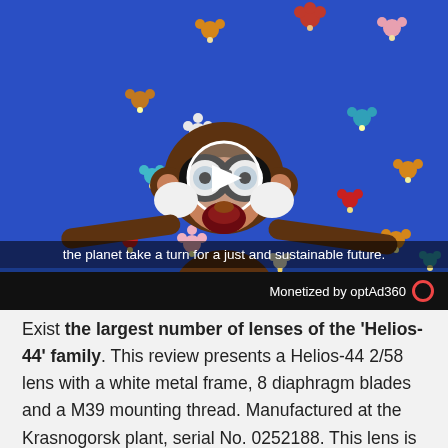[Figure (screenshot): Video thumbnail showing a felt craft monkey holding binoculars on a blue background with colorful felt flowers. A play button is visible in the center. A subtitle bar reads 'the planet take a turn for a just and sustainable future.' A black bar at the bottom reads 'Monetized by optAd360' with a red circle icon.]
Exist the largest number of lenses of the 'Helios-44' family. This review presents a Helios-44 2/58 lens with a white metal frame, 8 diaphragm blades and a M39 mounting thread. Manufactured at the Krasnogorsk plant, serial No. 0252188. This lens is almost the same Helios-44 2/58, the difference is only in the number of aperture blades.